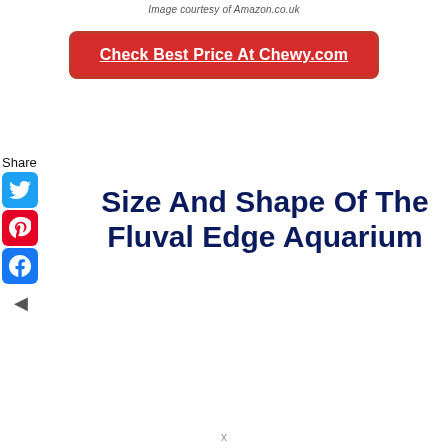Image courtesy of Amazon.co.uk
Check Best Price At Chewy.com
Share
Size And Shape Of The Fluval Edge Aquarium